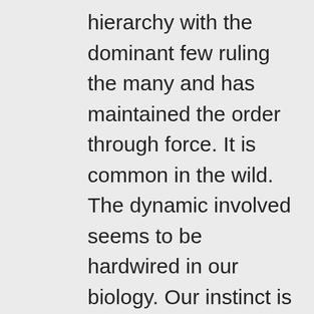hierarchy with the dominant few ruling the many and has maintained the order through force. It is common in the wild. The dynamic involved seems to be hardwired in our biology. Our instinct is to fight all that stands opposed to our choices. That worked well in the past when resources were abundant. On the other hand, one could choose instead to take flight, cross an ocean and feel once again as king of the castle. For millennia, as our numbers grew, this dynamic has evolved ever larger and more complex social structures, with